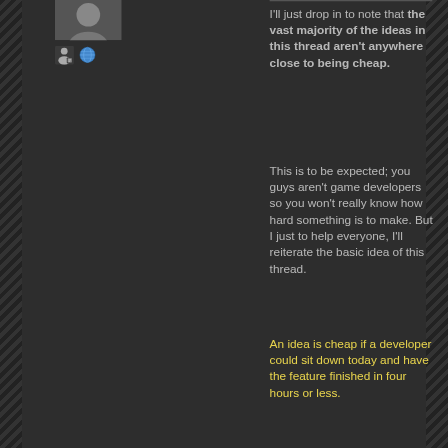[Figure (photo): Small profile photo/avatar of a person, cropped showing head and shoulders]
[Figure (illustration): Two emoji icons: a person/contact icon and a globe/world icon]
I'll just drop in to note that the vast majority of the ideas in this thread aren't anywhere close to being cheap.
This is to be expected; you guys aren't game developers so you won't really know how hard something is to make. But I just to help everyone, I'll reiterate the basic idea of this thread.
An idea is cheap if a developer could sit down today and have the feature finished in four hours or less.